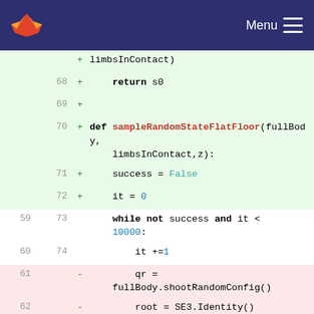GitLab navigation bar with logo and Menu
[Figure (screenshot): Code diff view showing Python source changes. Added lines (green background, +): line 68 'return s0', line 69 blank, line 70 'def sampleRandomStateFlatFloor(fullBody, limbsInContact,z):', line 71 'success = False', line 72 'it = 0'. Context lines (white): line 59/73 'while not success and it < 10000:', line 60/74 'it +=1'. Removed lines (pink background, -): line 61 'qr = fullBody.shootRandomConfig()', line 62 'root = SE3.Identity()', line 63 'root.translation=np.matrix(qr[0:3]).T', line 64 '# sample random orientation along z :', line 65 'root =']